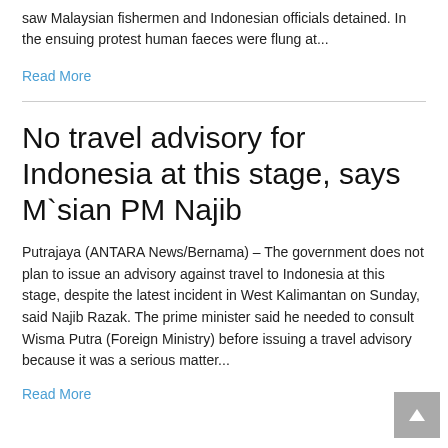saw Malaysian fishermen and Indonesian officials detained. In the ensuing protest human faeces were flung at...
Read More
No travel advisory for Indonesia at this stage, says M`sian PM Najib
Putrajaya (ANTARA News/Bernama) – The government does not plan to issue an advisory against travel to Indonesia at this stage, despite the latest incident in West Kalimantan on Sunday, said Najib Razak. The prime minister said he needed to consult Wisma Putra (Foreign Ministry) before issuing a travel advisory because it was a serious matter...
Read More